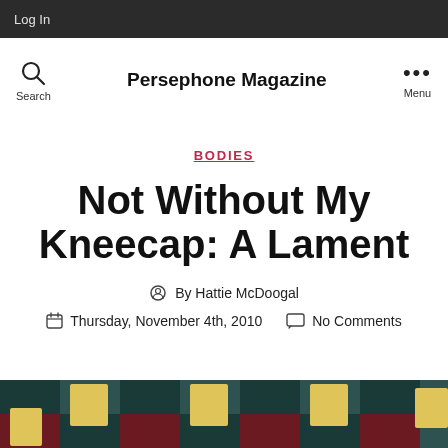Log In
Persephone Magazine  Search  Menu
BODIES
Not Without My Kneecap: A Lament
By Hattie McDoogal
Thursday, November 4th, 2010  No Comments
[Figure (photo): Decorative image strip at bottom showing a pattern with yellow squares on dark teal and dark red/maroon background]